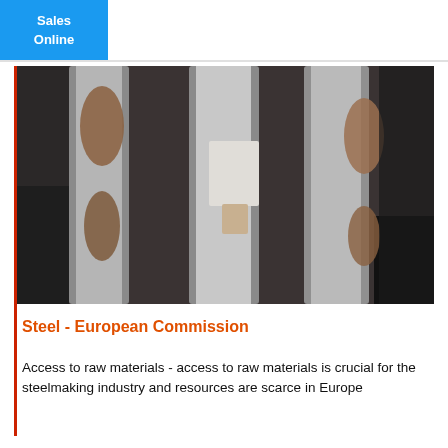Sales Online
[Figure (photo): Close-up industrial photo of steel manufacturing equipment or components, showing metallic surfaces, chains or structural steel parts in dark and silver tones.]
Steel - European Commission
Access to raw materials - access to raw materials is crucial for the steelmaking industry and resources are scarce in Europe